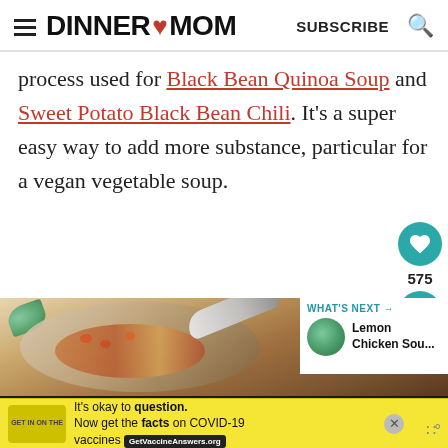DINNER ❤ MOM  SUBSCRIBE
process used for Black Bean Quinoa Soup and Sweet Potato Black Bean Chili. It's a super easy way to add more substance, particular for a vegan vegetable soup.
[Figure (photo): A bowl of vegetable soup with a spoon and colorful vegetables visible, on a woven mat background. A 'What's Next: Lemon Chicken Sou...' overlay appears in the corner.]
WHAT'S NEXT → Lemon Chicken Sou...
575
It's okay to question. Now get the facts on COVID-19 vaccines  GetVaccineAnswers.org